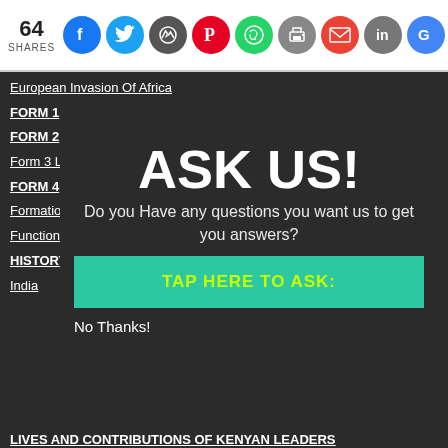64 SHARES
European Invasion Of Africa
FORM 1
FORM 2
Form 3 Level
FORM 4
Formation-of-government
Functions Of Governments
HISTORY FORM 1 TOPICS
India
[Figure (infographic): Popup overlay with 'ASK US!' heading, subtitle 'Do you Have any questions you want us to get you answers?', a teal 'TAP HERE TO ASK:' button, and 'No Thanks!' dismiss text]
LIVES AND CONTRIBUTIONS OF KENYAN LEADERS
Local Authorities In Kenya
MULTI-PARTY DEMOCRACY IN KENYA SINCE 1991
NATIONAL INTEGRATION
ORGANIZATION OF AFRICAN UNITY (OAU)
Pre-Colonial East Africa
PUBLIC REVENUE AND EXPENDITURE IN KENYA